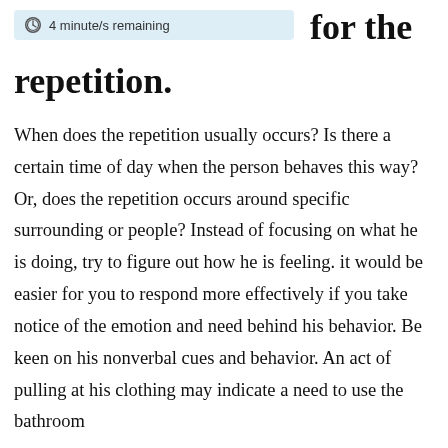4 minute/s remaining
for the repetition.
When does the repetition usually occurs? Is there a certain time of day when the person behaves this way? Or, does the repetition occurs around specific surrounding or people? Instead of focusing on what he is doing, try to figure out how he is feeling. it would be easier for you to respond more effectively if you take notice of the emotion and need behind his behavior. Be keen on his nonverbal cues and behavior. An act of pulling at his clothing may indicate a need to use the bathroom